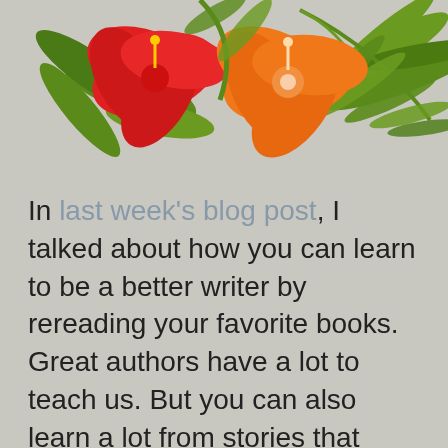[Figure (illustration): Tropical floral illustration with red and orange hibiscus flowers and green leaves/palm fronds at the top of the page]
In last week's blog post, I talked about how you can learn to be a better writer by rereading your favorite books. Great authors have a lot to teach us. But you can also learn a lot from stories that don't live up to your expectations. This isn't nearly as much fun as learning from a master, but you're not getting that time back either way, so